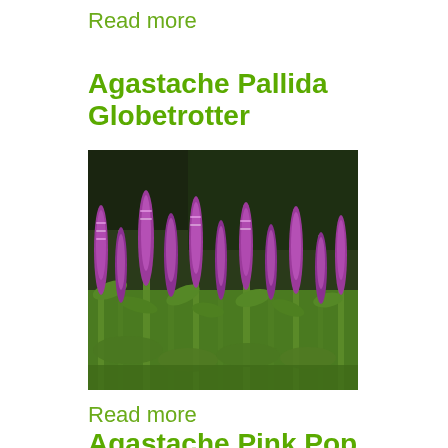Read more
Agastache Pallida Globetrotter
[Figure (photo): Purple/pink flowering Agastache Pallida Globetrotter plants with tall spiky flower heads growing densely in a garden setting with green foliage and dark background.]
Read more
Agastache Pink Pop